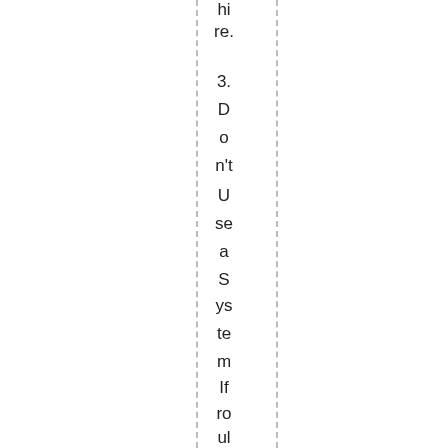hire.
3. Don't Use a System If roulette is a game of luck, the